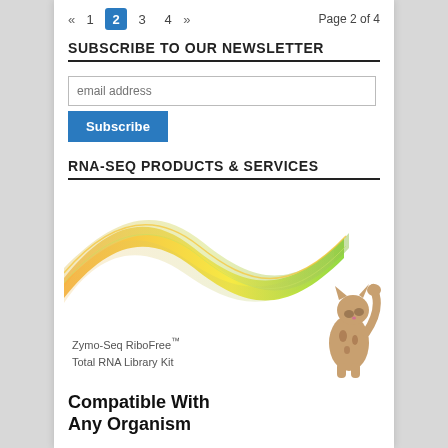« 1 2 3 4 » Page 2 of 4
SUBSCRIBE TO OUR NEWSLETTER
email address
Subscribe
RNA-SEQ PRODUCTS & SERVICES
[Figure (illustration): Colorful wave ribbon graphic (orange, yellow, green) with a Bengal cat sitting on the right side. Text overlay reads: Zymo-Seq RiboFree™ Total RNA Library Kit]
Compatible With
Any Organism